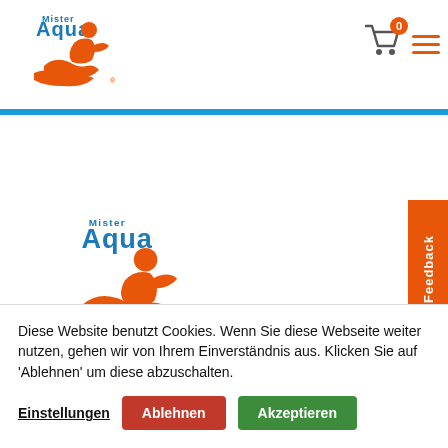[Figure (logo): Mister Aqua logo in header - blue text 'Mister Aqua' with orange figure of person with waves]
[Figure (logo): Mister Aqua logo in page body - larger version, orange figure with waves and blue Mister Aqua text]
Mister Aqua bv
Diese Website benutzt Cookies. Wenn Sie diese Webseite weiter nutzen, gehen wir von Ihrem Einverständnis aus. Klicken Sie auf 'Ablehnen' um diese abzuschalten.
Einstellungen
Ablehnen
Akzeptieren